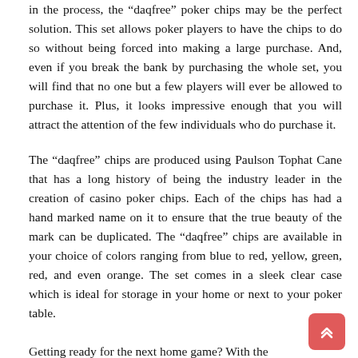in the process, the “daqfree” poker chips may be the perfect solution. This set allows poker players to have the chips to do so without being forced into making a large purchase. And, even if you break the bank by purchasing the whole set, you will find that no one but a few players will ever be allowed to purchase it. Plus, it looks impressive enough that you will attract the attention of the few individuals who do purchase it.
The “daqfree” chips are produced using Paulson Tophat Cane that has a long history of being the industry leader in the creation of casino poker chips. Each of the chips has had a hand marked name on it to ensure that the true beauty of the mark can be duplicated. The “daqfree” chips are available in your choice of colors ranging from blue to red, yellow, green, red, and even orange. The set comes in a sleek clear case which is ideal for storage in your home or next to your poker table.
Getting ready for the next home game? With the